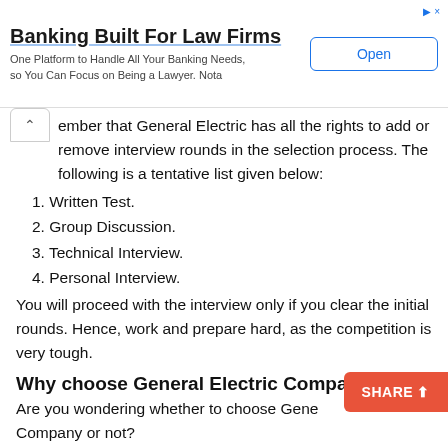[Figure (other): Advertisement banner: 'Banking Built For Law Firms' with 'Open' button]
...ember that General Electric has all the rights to add or remove interview rounds in the selection process. The following is a tentative list given below:
1. Written Test.
2. Group Discussion.
3. Technical Interview.
4. Personal Interview.
You will proceed with the interview only if you clear the initial rounds. Hence, work and prepare hard, as the competition is very tough.
Why choose General Electric Company?
Are you wondering whether to choose General Electric Company or not?